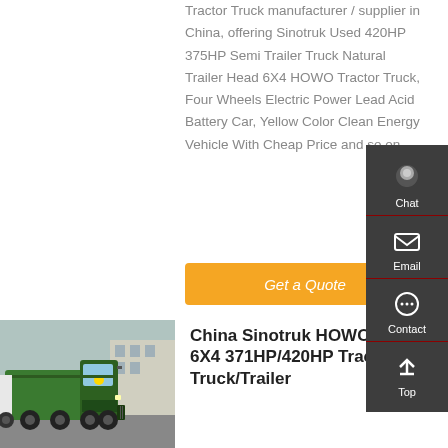Tractor Truck manufacturer / supplier in China, offering Sinotruk Used 420HP 375HP Semi Trailer Truck Natural Trailer Head 6X4 HOWO Tractor Truck, Four Wheels Electric Power Lead Acid Battery Car, Yellow Color Clean Energy Vehicle With Cheap Price and so on.
Get a Quote
[Figure (photo): Green Sinotruk HOWO 6X4 tractor truck parked outdoors]
China Sinotruk HOWO 6X4 371HP/420HP Tractor Truck/Trailer